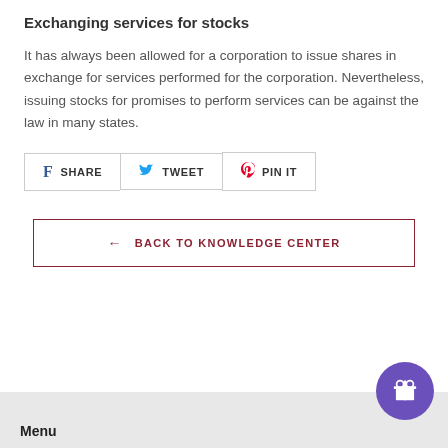Exchanging services for stocks
It has always been allowed for a corporation to issue shares in exchange for services performed for the corporation. Nevertheless, issuing stocks for promises to perform services can be against the law in many states.
[Figure (other): Social sharing buttons: SHARE (Facebook), TWEET (Twitter), PIN IT (Pinterest)]
[Figure (other): Back to Knowledge Center button with left arrow]
Menu